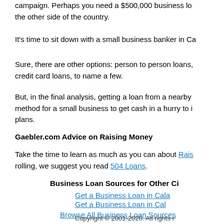campaign. Perhaps you need a $500,000 business lo the other side of the country.
It's time to sit down with a small business banker in Ca
Sure, there are other options: person to person loans, credit card loans, to name a few.
But, in the final analysis, getting a loan from a nearby method for a small business to get cash in a hurry to i plans.
Gaebler.com Advice on Raising Money
Take the time to learn as much as you can about Rais rolling, we suggest you read 504 Loans.
Business Loan Sources for Other Ci
Get a Business Loan in Cala
Get a Business Loan in Cal
Browse All Business Loan Sources
Copyright © 2001-2020. All rights r